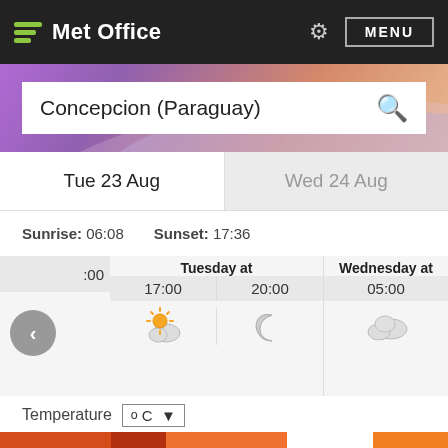Met Office   MENU
Concepcion (Paraguay)
Tue 23 Aug
Wed 24 Aug
Sunrise: 06:08   Sunset: 17:36
Tuesday at 17:00  20:00   Wednesday at 05:00
Temperature ºC